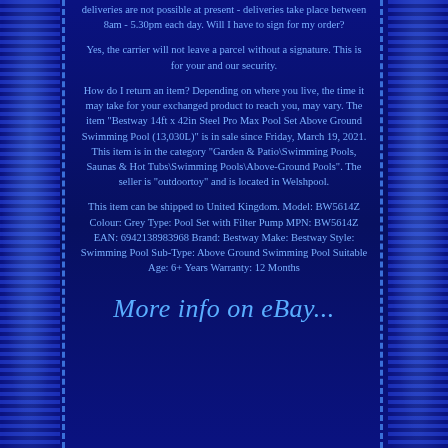deliveries are not possible at present - deliveries take place between 8am - 5.30pm each day. Will I have to sign for my order?
Yes, the carrier will not leave a parcel without a signature. This is for your and our security.
How do I return an item? Depending on where you live, the time it may take for your exchanged product to reach you, may vary. The item "Bestway 14ft x 42in Steel Pro Max Pool Set Above Ground Swimming Pool (13,030L)" is in sale since Friday, March 19, 2021. This item is in the category "Garden & Patio\Swimming Pools, Saunas & Hot Tubs\Swimming Pools\Above-Ground Pools". The seller is "outdoortoy" and is located in Welshpool.
This item can be shipped to United Kingdom. Model: BW5614Z Colour: Grey Type: Pool Set with Filter Pump MPN: BW5614Z EAN: 6942138983968 Brand: Bestway Make: Bestway Style: Swimming Pool Sub-Type: Above Ground Swimming Pool Suitable Age: 6+ Years Warranty: 12 Months
More info on eBay...